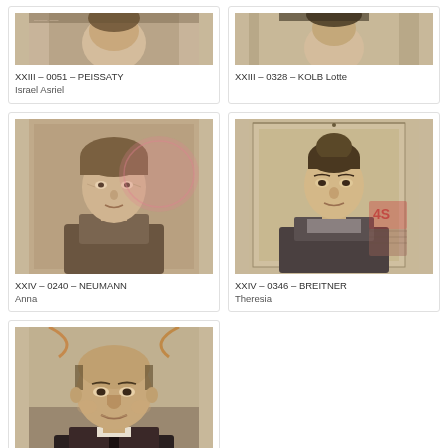[Figure (photo): Partial passport-style photo of Israel Asriel, sepia toned, top portion visible]
XXIII – 0051 – PEISSATY
Israel Asriel
[Figure (photo): Partial passport-style photo of Lotte Kolb, sepia toned, top portion visible]
XXIII – 0328 – KOLB Lotte
[Figure (photo): Passport-style photo of Anna Neumann, elderly woman, sepia toned with pink stamp overlay]
XXIV – 0240 – NEUMANN
Anna
[Figure (photo): Passport-style photo of Theresia Breitner, young woman, sepia toned with red/pink revenue stamp in corner]
XXIV – 0346 – BREITNER
Theresia
[Figure (photo): Passport-style photo of Jakob Gruber, middle-aged man in dark jacket, sepia toned]
XXVs – 0006 – GRUBER
Jakob